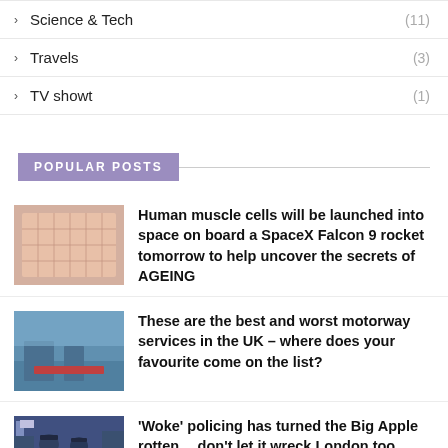Science & Tech (11)
Travels (3)
TV showt (1)
POPULAR POSTS
[Figure (photo): Close-up of a red/pink grid plate (muscle cell culture dish)]
Human muscle cells will be launched into space on board a SpaceX Falcon 9 rocket tomorrow to help uncover the secrets of AGEING
[Figure (photo): Motorway services interior with seating and signage]
These are the best and worst motorway services in the UK – where does your favourite come on the list?
[Figure (photo): Police officers standing in uniform outdoors]
'Woke' policing has turned the Big Apple rotten… don't let it wreck London too